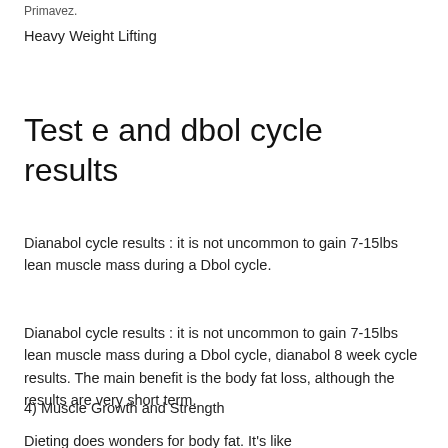Primavez.
Heavy Weight Lifting
Test e and dbol cycle results
Dianabol cycle results : it is not uncommon to gain 7-15lbs lean muscle mass during a Dbol cycle.
Dianabol cycle results : it is not uncommon to gain 7-15lbs lean muscle mass during a Dbol cycle, dianabol 8 week cycle results. The main benefit is the body fat loss, although the results are very short term.
4) Muscle Growth and Strength
Dieting does wonders for body fat. It's like